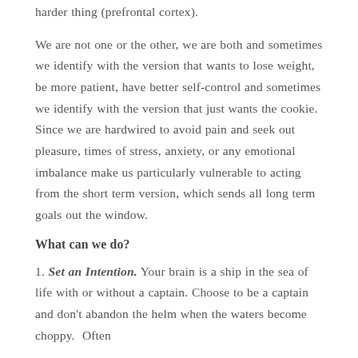harder thing (prefrontal cortex).
We are not one or the other, we are both and sometimes we identify with the version that wants to lose weight, be more patient, have better self-control and sometimes we identify with the version that just wants the cookie.  Since we are hardwired to avoid pain and seek out pleasure, times of stress, anxiety, or any emotional imbalance make us particularly vulnerable to acting from the short term version, which sends all long term goals out the window.
What can we do?
1. Set an Intention. Your brain is a ship in the sea of life with or without a captain. Choose to be a captain and don't abandon the helm when the waters become choppy.  Often